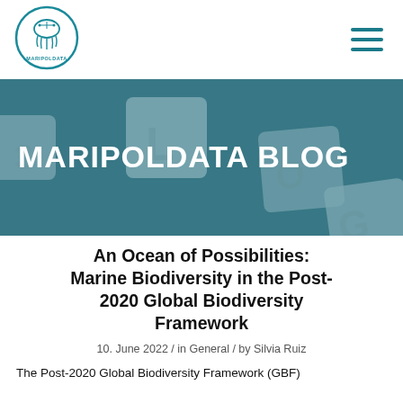[Figure (logo): MARIPOLDATA circular logo with jellyfish and circuit board design, teal color]
[Figure (photo): Hero banner with keyboard keys spelling BLOG on a wooden surface, teal overlay]
MARIPOLDATA BLOG
An Ocean of Possibilities: Marine Biodiversity in the Post-2020 Global Biodiversity Framework
10. June 2022 / in General / by Silvia Ruiz
The Post-2020 Global Biodiversity Framework (GBF)